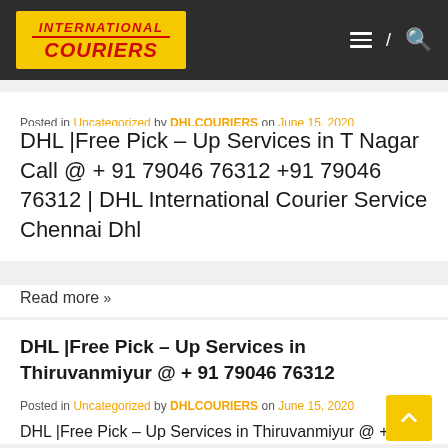INTERNATIONAL COURIERS
Posted in Uncategorized by DHLCOURIERS on June 15, 2020
DHL |Free Pick – Up Services in T Nagar Call @ + 91 79046 76312 +91 79046 76312 | DHL International Courier Service Chennai Dhl
Read more »
DHL |Free Pick – Up Services in Thiruvanmiyur @ + 91 79046 76312
Posted in Uncategorized by DHLCOURIERS on June 15, 2020
DHL |Free Pick – Up Services in Thiruvanmiyur @ +